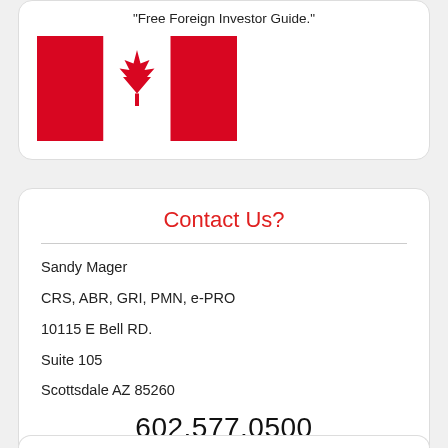"Free Foreign Investor Guide."
[Figure (illustration): Canadian flag - red bars on left and right with white center panel containing a red maple leaf]
Contact Us?
Sandy Mager
CRS, ABR, GRI, PMN, e-PRO
10115 E Bell RD.
Suite 105
Scottsdale AZ 85260
602.577.0500